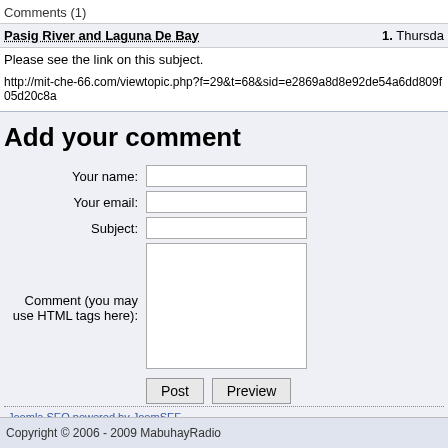Comments (1)
Pasig River and Laguna De Bay  1. Thursda
Please see the link on this subject.
http://mit-che-66.com/viewtopic.php?f=29&t=68&sid=e2869a8d8e92de54a6dd809f05d20c8a
Add your comment
Your name:
Your email:
Subject:
Comment (you may use HTML tags here):
Post  Preview
Joomla SEO powered by JoomSEF
Copyright © 2006 - 2009 MabuhayRadio